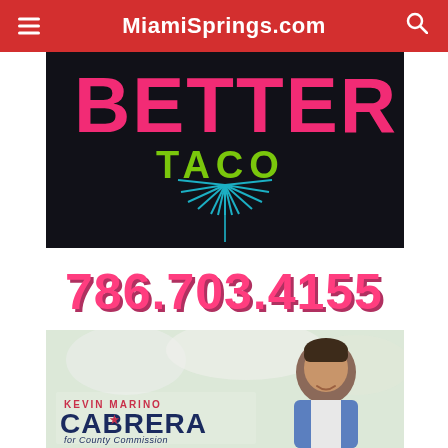MiamiSprings.com
[Figure (photo): Better Taco restaurant sign with pink letters 'BETTER', green and blue neon TACO sign with radiating lines, on dark background]
786.703.4155
[Figure (photo): Campaign advertisement for Kevin Marino Cabrera for County Commission District 6, showing a man in a suit smiling outdoors]